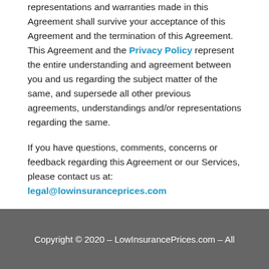representations and warranties made in this Agreement shall survive your acceptance of this Agreement and the termination of this Agreement. This Agreement and the Privacy Policy represent the entire understanding and agreement between you and us regarding the subject matter of the same, and supersede all other previous agreements, understandings and/or representations regarding the same.
If you have questions, comments, concerns or feedback regarding this Agreement or our Services, please contact us at: legal@lowinsuranceprices.com
Copyright © 2020 – LowInsurancePrices.com – All